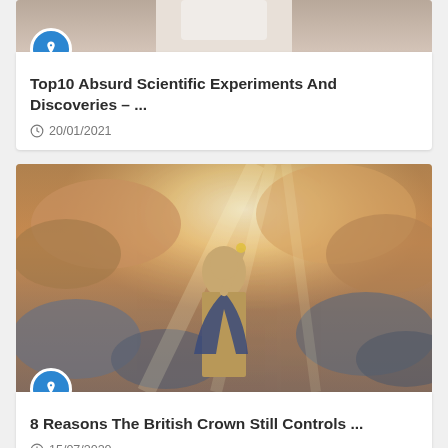[Figure (photo): Partial photo of a person visible at top of first card (cropped)]
Top10 Absurd Scientific Experiments And Discoveries – ...
20/01/2021
[Figure (photo): Dramatic photo of a woman in classical robes holding a torch aloft against a stormy glowing sky with clouds]
8 Reasons The British Crown Still Controls ...
15/07/2020